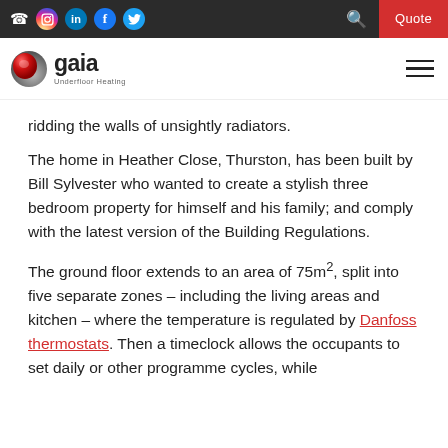Gaia Underfloor Heating navigation bar with phone, Instagram, LinkedIn, Facebook, Twitter icons, search and Quote button
[Figure (logo): Gaia Underfloor Heating logo — red and grey sphere with 'gaia' wordmark and 'Underfloor Heating' tagline]
ridding the walls of unsightly radiators.
The home in Heather Close, Thurston, has been built by Bill Sylvester who wanted to create a stylish three bedroom property for himself and his family; and comply with the latest version of the Building Regulations.
The ground floor extends to an area of 75m², split into five separate zones – including the living areas and kitchen – where the temperature is regulated by Danfoss thermostats. Then a timeclock allows the occupants to set daily or other programme cycles, while